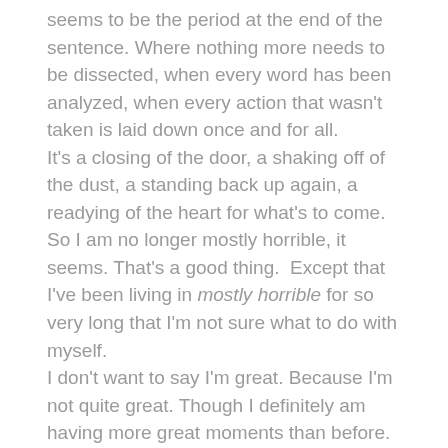seems to be the period at the end of the sentence. Where nothing more needs to be dissected, when every word has been analyzed, when every action that wasn't taken is laid down once and for all.
It's a closing of the door, a shaking off of the dust, a standing back up again, a readying of the heart for what's to come.
So I am no longer mostly horrible, it seems. That's a good thing.  Except that I've been living in mostly horrible for so very long that I'm not sure what to do with myself.
I don't want to say I'm great. Because I'm not quite great. Though I definitely am having more great moments than before.
But here's the main reason I don't want to say